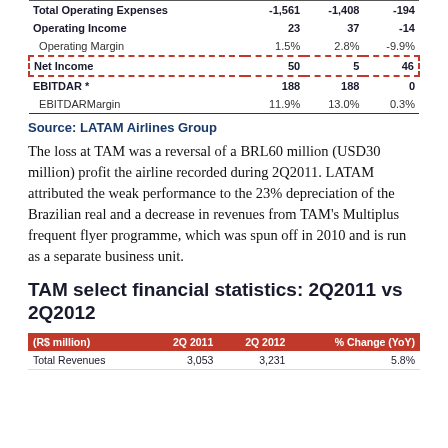|  | 2Q 2011 | 2Q 2012 | % Change (YoY) |
| --- | --- | --- | --- |
| Total Operating Expenses | -1,561 | -1,408 | -194 |
| Operating Income | 23 | 37 | -14 |
| Operating Margin | 1.5% | 2.8% | -9.9% |
| Net Income | 50 | 5 | 46 |
| EBITDAR * | 188 | 188 | 0 |
| EBITDARMargin | 11.9% | 13.0% | 0.3% |
Source: LATAM Airlines Group
The loss at TAM was a reversal of a BRL60 million (USD30 million) profit the airline recorded during 2Q2011. LATAM attributed the weak performance to the 23% depreciation of the Brazilian real and a decrease in revenues from TAM’s Multiplus frequent flyer programme, which was spun off in 2010 and is run as a separate business unit.
TAM select financial statistics: 2Q2011 vs 2Q2012
| (R$ million) | 2Q 2011 | 2Q 2012 | % Change (YoY) |
| --- | --- | --- | --- |
| Total Revenues | 3,053 | 3,231 | 5.8% |